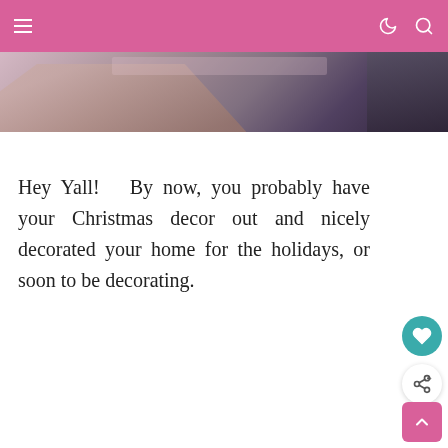≡  ☽  🔍
[Figure (photo): Partial photo visible behind the pink navigation bar — appears to show a hand near a desk surface with a person in background]
Hey Yall!   By now, you probably have your Christmas decor out and nicely decorated your home for the holidays, or soon to be decorating.